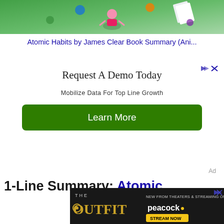[Figure (illustration): Green background illustration with cartoon figure meditating, icons floating around, book-related imagery on a green background]
Atomic Habits by James Clear Book Summary (Ani...
[Figure (infographic): Advertisement block with 'Request A Demo Today' heading, 'Mobilize Data For Top Line Growth' subtext, and a green 'Learn More' button. Ad indicator icons shown in top right.]
Ad
1-Line Summary: Atomic
[Figure (screenshot): Bottom advertisement for 'The Outfit' movie/streaming, showing on peacock. Dark background with gold/yellow text. 'STREAM NOW' button visible.]